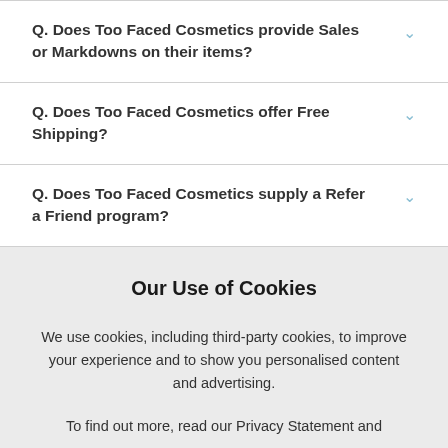Q. Does Too Faced Cosmetics provide Sales or Markdowns on their items?
Q. Does Too Faced Cosmetics offer Free Shipping?
Q. Does Too Faced Cosmetics supply a Refer a Friend program?
Our Use of Cookies
We use cookies, including third-party cookies, to improve your experience and to show you personalised content and advertising.
To find out more, read our Privacy Statement and